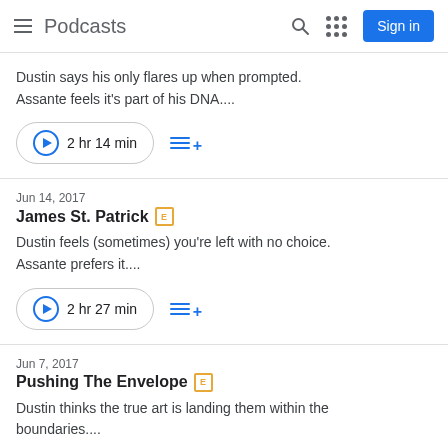Podcasts
Dustin says his only flares up when prompted. Assante feels it's part of his DNA....
2 hr 14 min
Jun 14, 2017
James St. Patrick [E]
Dustin feels (sometimes) you're left with no choice. Assante prefers it....
2 hr 27 min
Jun 7, 2017
Pushing The Envelope [E]
Dustin thinks the true art is landing them within the boundaries....
2 hr